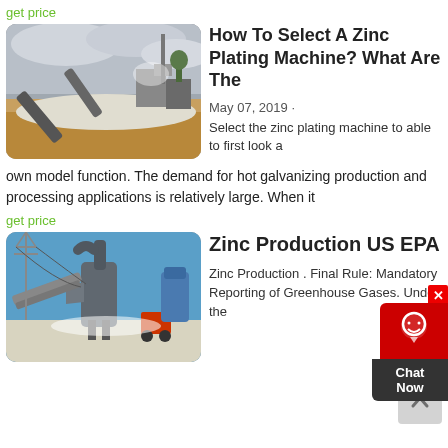get price
[Figure (photo): Mining/quarry site with industrial conveyors and equipment against a cloudy sky]
How To Select A Zinc Plating Machine? What Are The
May 07, 2019 · Select the zinc plating machine to able to first look a
own model function. The demand for hot galvanizing production and processing applications is relatively large. When it
get price
[Figure (photo): Industrial milling/grinding machine with conveyor belts and a forklift visible in background]
Zinc Production US EPA
Zinc Production . Final Rule: Mandatory Reporting of Greenhouse Gases. Under the